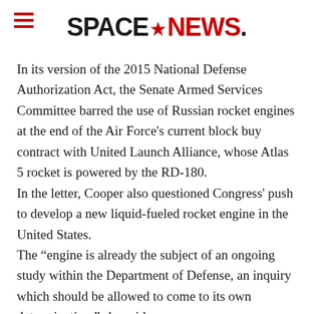SPACENEWS
In its version of the 2015 National Defense Authorization Act, the Senate Armed Services Committee barred the use of Russian rocket engines at the end of the Air Force’s current block buy contract with United Launch Alliance, whose Atlas 5 rocket is powered by the RD-180.
In the letter, Cooper also questioned Congress’ push to develop a new liquid-fueled rocket engine in the United States.
The “engine is already the subject of an ongoing study within the Department of Defense, an inquiry which should be allowed to come to its own determination,” she said.